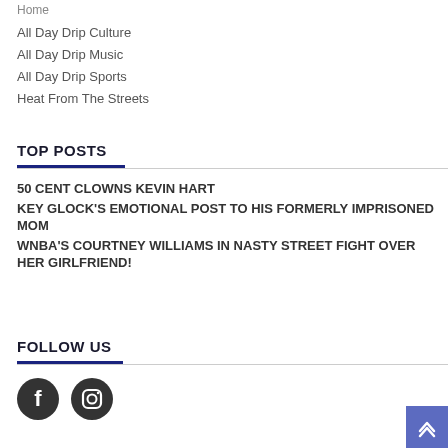Home
All Day Drip Culture
All Day Drip Music
All Day Drip Sports
Heat From The Streets
TOP POSTS
50 CENT CLOWNS KEVIN HART
KEY GLOCK'S EMOTIONAL POST TO HIS FORMERLY IMPRISONED MOM
WNBA'S COURTNEY WILLIAMS IN NASTY STREET FIGHT OVER HER GIRLFRIEND!
FOLLOW US
[Figure (illustration): Facebook and Instagram social media icons (circular dark icons)]